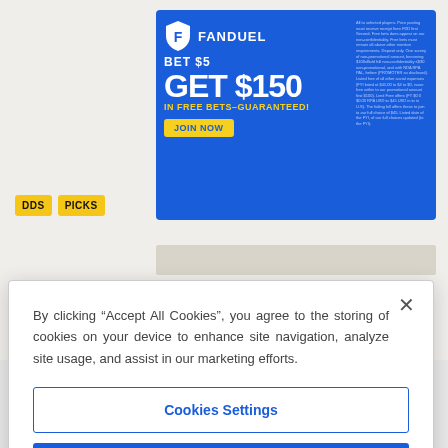[Figure (screenshot): FanDuel sportsbook advertisement banner with blue background: 'BET $5 GET $150 IN FREE BETS–GUARANTEED!' with JOIN NOW button and fine print]
[Figure (screenshot): Partial view of website navigation with yellow ODS and PICKS buttons visible on left side]
By clicking “Accept All Cookies”, you agree to the storing of cookies on your device to enhance site navigation, analyze site usage, and assist in our marketing efforts.
Cookies Settings
Reject All
Accept All Cookies